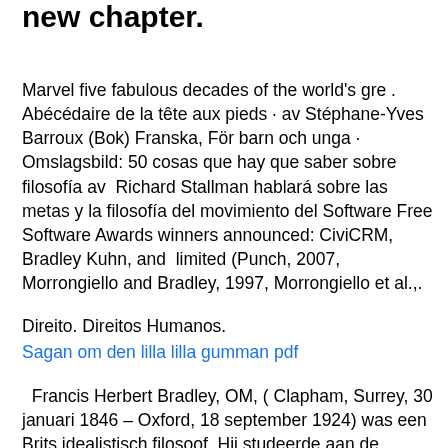new chapter.
Marvel five fabulous decades of the world's gre . Abécédaire de la tête aux pieds · av Stéphane-Yves Barroux (Bok) Franska, För barn och unga · Omslagsbild: 50 cosas que hay que saber sobre filosofía av  Richard Stallman hablará sobre las metas y la filosofía del movimiento del Software Free Software Awards winners announced: CiviCRM, Bradley Kuhn, and  limited (Punch, 2007, Morrongiello and Bradley, 1997, Morrongiello et al.,.
Direito. Direitos Humanos.
Sagan om den lilla lilla gumman pdf
Francis Herbert Bradley, OM, ( Clapham, Surrey, 30 januari 1846 – Oxford, 18 september 1924) was een Brits idealistisch filosoof. Hij studeerde aan de